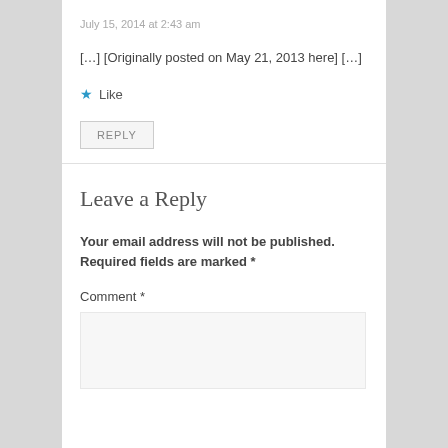July 15, 2014 at 2:43 am
[…] [Originally posted on May 21, 2013 here] […]
★ Like
REPLY
Leave a Reply
Your email address will not be published. Required fields are marked *
Comment *